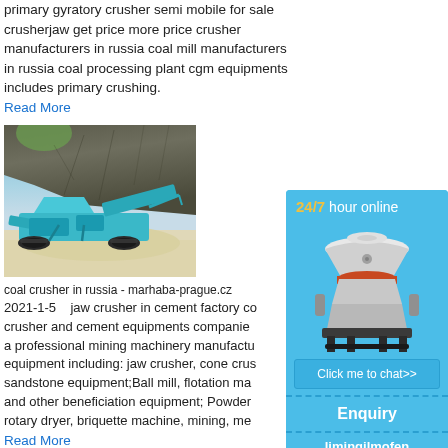primary gyratory crusher semi mobile for sale crusherjaw get price more price crusher manufacturers in russia coal mill manufacturers in russia coal processing plant cgm equipments includes primary crushing.
Read More
[Figure (photo): Mobile jaw crusher machine (teal/blue colored) on a sandy quarry site with rocky cliff in background]
coal crusher in russia - marhaba-prague.cz
2021-1-5  jaw crusher in cement factory co crusher and cement equipments companies a professional mining machinery manufactu equipment including: jaw crusher, cone crus sandstone equipment;Ball mill, flotation ma and other beneficiation equipment; Powder rotary dryer, briquette machine, mining, me
Read More
[Figure (illustration): Sidebar advertisement with blue background showing a cone crusher machine, '24/7 hour online' text in yellow/white, 'Click me to chat>>' button, 'Enquiry' section, and 'limingjlmofen' text at bottom]